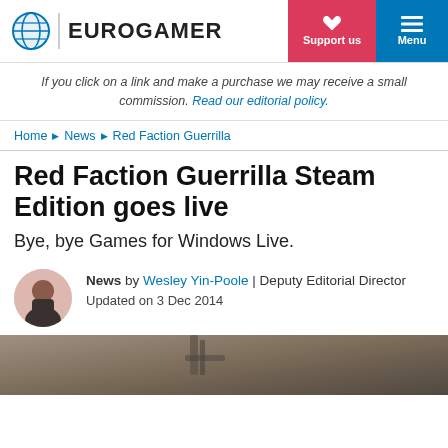EUROGAMER | Support us | Menu
If you click on a link and make a purchase we may receive a small commission. Read our editorial policy.
Home ▶ News ▶ Red Faction Guerrilla
Red Faction Guerrilla Steam Edition goes live
Bye, bye Games for Windows Live.
News by Wesley Yin-Poole | Deputy Editorial Director
Updated on 3 Dec 2014
[Figure (photo): Bottom partial image of a game scene from Red Faction Guerrilla]